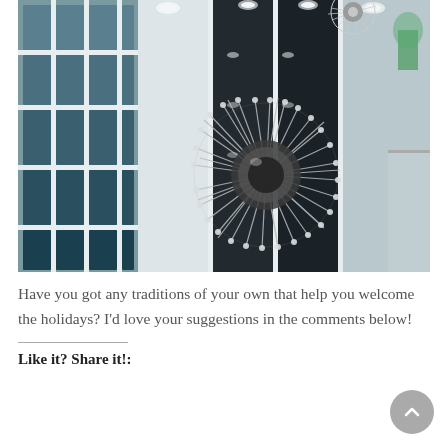[Figure (photo): Interior photo showing a tall atrium or lobby with white-framed floor-to-ceiling windows and a large spherical sputnik-style chandelier hanging from the ceiling. A second smaller chandelier is visible at the top. Glass railings and green accent light visible on the right.]
Have you got any traditions of your own that help you welcome the holidays? I'd love your suggestions in the comments below!
Like it? Share it!: